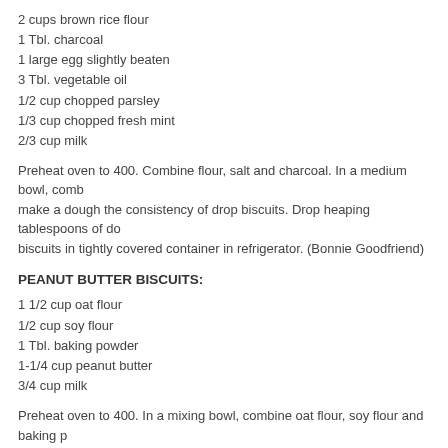2 cups brown rice flour
1 Tbl. charcoal
1 large egg slightly beaten
3 Tbl. vegetable oil
1/2 cup chopped parsley
1/3 cup chopped fresh mint
2/3 cup milk
Preheat oven to 400. Combine flour, salt and charcoal. In a medium bowl, comb make a dough the consistency of drop biscuits. Drop heaping tablespoons of do biscuits in tightly covered container in refrigerator. (Bonnie Goodfriend)
PEANUT BUTTER BISCUITS:
1 1/2 cup oat flour
1/2 cup soy flour
1 Tbl. baking powder
1-1/4 cup peanut butter
3/4 cup milk
Preheat oven to 400. In a mixing bowl, combine oat flour, soy flour and baking p ingredients and mix well. Turn dough out onto a lightly floured surface and knea biscuits on baking sheet about 1/2 in. apart and bake for 15 min., or until lightly b